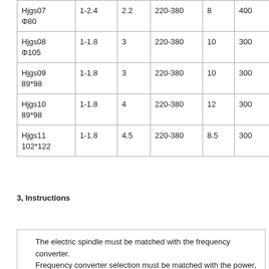| Hjgs07
Φ80 | 1-2.4 | 2.2 | 220-380 | 8 | 400 |
| Hjgs08
Φ105 | 1-1.8 | 3 | 220-380 | 10 | 300 |
| Hjgs09
89*98 | 1-1.8 | 3 | 220-380 | 10 | 300 |
| Hjgs10
89*98 | 1-1.8 | 4 | 220-380 | 12 | 300 |
| Hjgs11
102*122 | 1-1.8 | 4.5 | 220-380 | 8.5 | 300 |
3, Instructions
The electric spindle must be matched with the frequency converter. Frequency converter selection must be matched with the power, voltage, current, frequency and other parameters of the electric